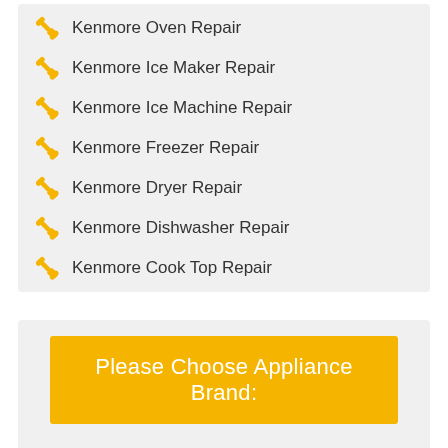Kenmore Oven Repair
Kenmore Ice Maker Repair
Kenmore Ice Machine Repair
Kenmore Freezer Repair
Kenmore Dryer Repair
Kenmore Dishwasher Repair
Kenmore Cook Top Repair
Please Choose Appliance Brand:
JennAir Repair San-francisco
U-line Repair San-francisco